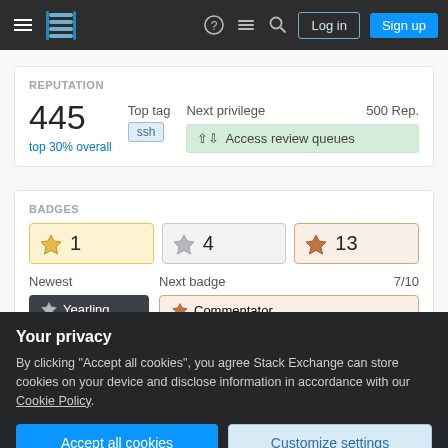Stack Exchange navigation bar with Log in and Sign up buttons
REPUTATION
445
top 30% overall
Top tag: ssh
Next privilege: Access review queues
500 Rep.
BADGES
Gold: 1  Silver: 4  Bronze: 13
Newest
Yearling
Next badge 7/10
Commentator
Your privacy
By clicking "Accept all cookies", you agree Stack Exchange can store cookies on your device and disclose information in accordance with our Cookie Policy.
Accept all cookies   Customize settings
Questions